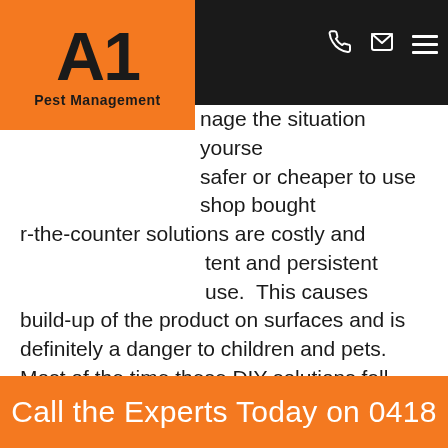[Figure (logo): A1 Pest Management logo — orange square with bold black A1 and 'Pest Management' text below]
Navigation bar with phone, email, and menu icons
…anage the situation yourself…
…safer or cheaper to use shop bought…
…-the-counter solutions are costly and…
…ent and persistent use. This causes build-up of the product on surfaces and is definitely a danger to children and pets. Most of the time these DIY solutions fall short of complete control anyway.
For the best and safest solution for you and your family, call us at A1 Pest Management and we will provide you with pet friendly pest control Brisbane that's effective, reliable and affordable!
Call the Experts Today on 0418